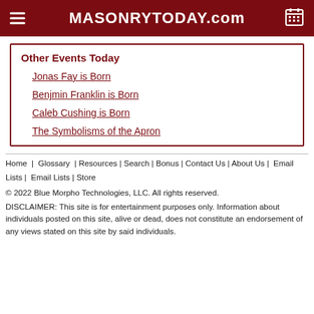MASONRYTODAY.com
Other Events Today
Jonas Fay is Born
Benjmin Franklin is Born
Caleb Cushing is Born
The Symbolisms of the Apron
Home  |  Glossary  | Resources | Search | Bonus | Contact Us | About Us |  Email Lists |  Email Lists | Store
© 2022 Blue Morpho Technologies, LLC. All rights reserved.
DISCLAIMER: This site is for entertainment purposes only. Information about individuals posted on this site, alive or dead, does not constitute an endorsement of any views stated on this site by said individuals.